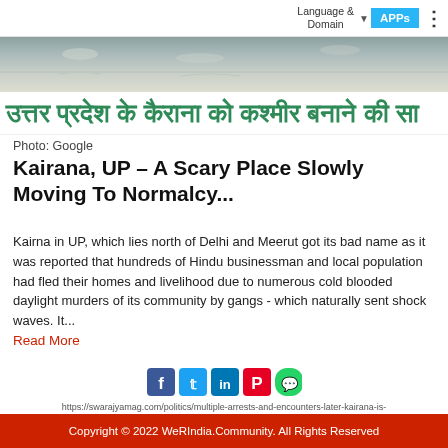Language & Domain  APPs
[Figure (photo): Landscape photo strip showing a sandy/dusty terrain with horizon line]
उत्तर प्रदेश के कैराना को कश्मीर बनाने की सा
Photo: Google
Kairana, UP – A Scary Place Slowly Moving To Normalcy...
Kairna in UP, which lies north of Delhi and Meerut got its bad name as it was reported that hundreds of Hindu businessman and local population had fled their homes and livelihood due to numerous cold blooded daylight murders of its community by gangs - which naturally sent shock waves. It...
Read More
[Figure (infographic): Social sharing icons: Facebook, Twitter, LinkedIn, Pinterest, WhatsApp]
https://swarajyamag.com/politics/multiple-arrests-and-encounters-later-kairana-is-moving-towards-normalcy
24Jan 2018  |  WerIndia  |  Comment
Visit
Leave a Reply
Write your Comment here..
Copyright © 2022 WeRIndia.Community. All Rights Reserved